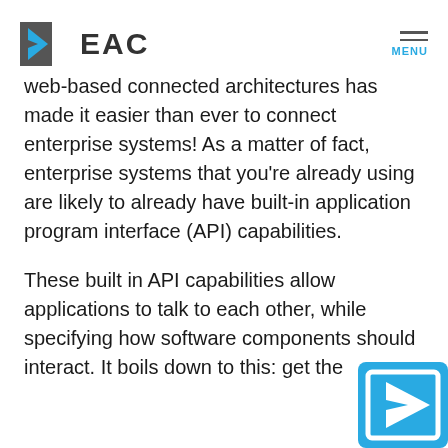EAC | MENU
web-based connected architectures has made it easier than ever to connect enterprise systems! As a matter of fact, enterprise systems that you're already using are likely to already have built-in application program interface (API) capabilities.
These built in API capabilities allow applications to talk to each other, while specifying how software components should interact. It boils down to this: get the